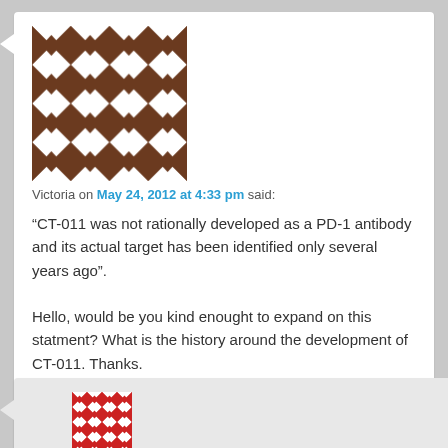[Figure (illustration): Brown and white geometric quilt-pattern avatar for user Victoria]
Victoria on May 24, 2012 at 4:33 pm said:
“CT-011 was not rationally developed as a PD-1 antibody and its actual target has been identified only several years ago”.

Hello, would be you kind enought to expand on this statment? What is the history around the development of CT-011. Thanks.
Like
Reply ↓
[Figure (illustration): Red and white geometric quilt-pattern avatar for second commenter (partial, cropped at bottom)]